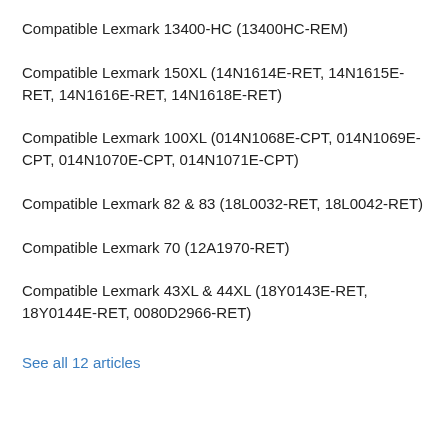Compatible Lexmark 13400-HC (13400HC-REM)
Compatible Lexmark 150XL (14N1614E-RET, 14N1615E-RET, 14N1616E-RET, 14N1618E-RET)
Compatible Lexmark 100XL (014N1068E-CPT, 014N1069E-CPT, 014N1070E-CPT, 014N1071E-CPT)
Compatible Lexmark 82 & 83 (18L0032-RET, 18L0042-RET)
Compatible Lexmark 70 (12A1970-RET)
Compatible Lexmark 43XL & 44XL (18Y0143E-RET, 18Y0144E-RET, 0080D2966-RET)
See all 12 articles